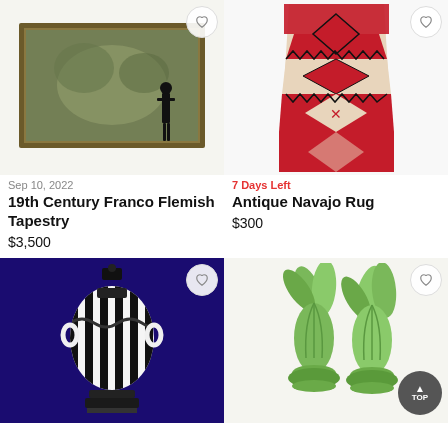[Figure (photo): 19th century Franco Flemish tapestry with ornate frame, human silhouette for scale]
[Figure (photo): Antique Navajo rug with red and black geometric diamond pattern on beige background]
Sep 10, 2022
19th Century Franco Flemish Tapestry
$3,500
7 Days Left
Antique Navajo Rug
$300
[Figure (photo): Black and white striped decorative urn/vase with handles on dark blue background]
[Figure (photo): Two green ceramic tulip or lettuce-shaped vases/figurines]